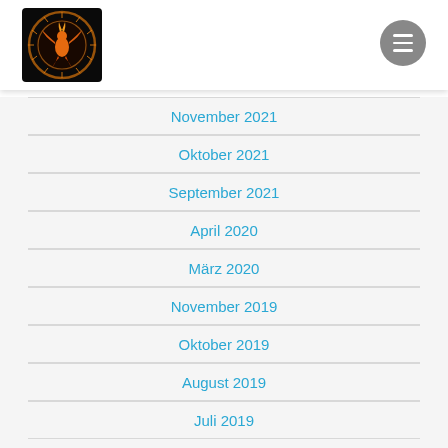[Figure (logo): Phoenix logo — glowing bird in a fiery orange circle on black background]
November 2021
Oktober 2021
September 2021
April 2020
März 2020
November 2019
Oktober 2019
August 2019
Juli 2019